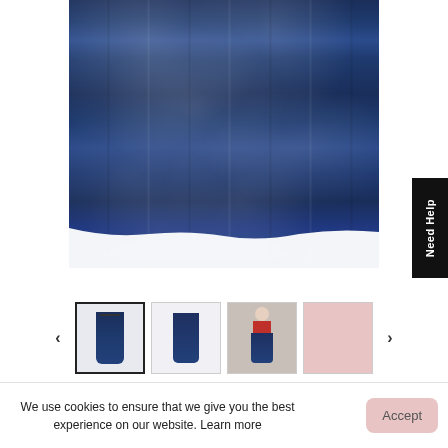[Figure (photo): Close-up product photo of a blue sparkly/glittery maxi skirt or dress, showing the flowing fabric from waist to hem against a white background. The garment is navy blue with silver glitter/sequin detailing.]
[Figure (screenshot): A 'Need Help' button tab in black positioned vertically on the right side of the page.]
[Figure (photo): Thumbnail strip showing four product thumbnail images: (1) selected thumbnail with black border showing the navy glitter skirt front, (2) navy skirt thumbnail, (3) model wearing the skirt with a red top, (4) pink/rose product thumbnail. Left and right navigation arrows visible.]
We use cookies to ensure that we give you the best experience on our website. Learn more